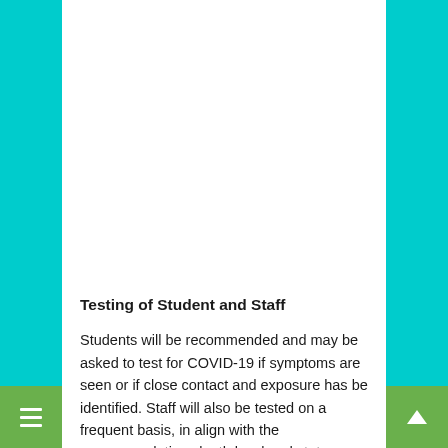Testing of Student and Staff
Students will be recommended and may be asked to test for COVID-19 if symptoms are seen or if close contact and exposure has be identified. Staff will also be tested on a frequent basis, in align with the recommendations by the local and state health organizations.